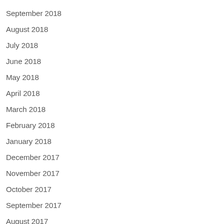September 2018
August 2018
July 2018
June 2018
May 2018
April 2018
March 2018
February 2018
January 2018
December 2017
November 2017
October 2017
September 2017
August 2017
July 2017